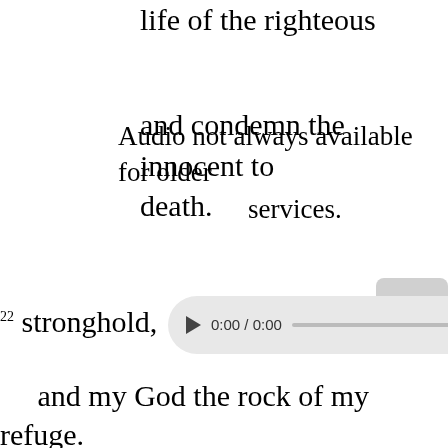life of the righteous
and condemn the innocent to death.
Audio not always available for older services.
[Figure (other): Audio player widget showing 0:00 / 0:00 with play button, progress bar, volume icon, and more options icon]
22 stronghold;
and my God the rock of my refuge.
23 He will bring back on them their iniquity
and wipe them out for their wickedness;
the LORD our God will wipe them